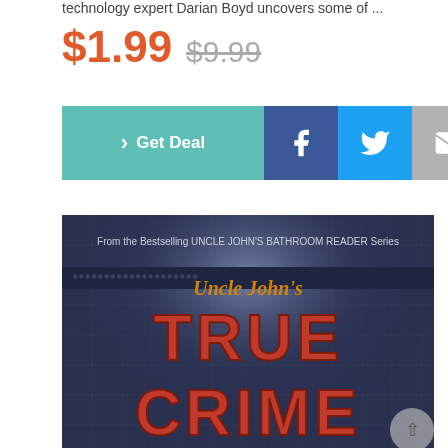technology expert Darian Boyd uncovers some of ...
$1.99  $9.99
[Figure (screenshot): Buttons row: teal 'Get Deal' button, Facebook share button (blue), Twitter share button (blue), Email share button (gray)]
[Figure (photo): Book cover of Uncle John's True Crime from the Bestselling UNCLE JOHN'S BATHROOM READER Series. Dark blue/gray tiled background with spotlight effect. 'Uncle John's' in orange script lettering, 'TRUE CRIME' in large bold red 3D letters at bottom.]